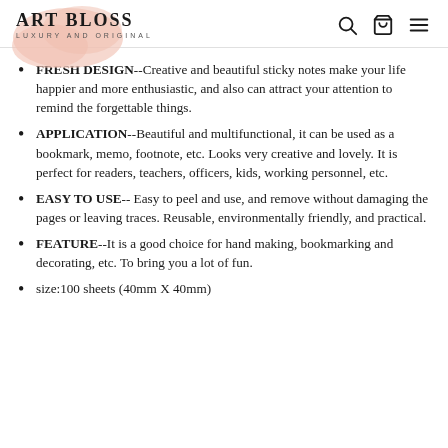Art Bloss — Luxury and Original
FRESH DESIGN--Creative and beautiful sticky notes make your life happier and more enthusiastic, and also can attract your attention to remind the forgettable things.
APPLICATION--Beautiful and multifunctional, it can be used as a bookmark, memo, footnote, etc. Looks very creative and lovely. It is perfect for readers, teachers, officers, kids, working personnel, etc.
EASY TO USE-- Easy to peel and use, and remove without damaging the pages or leaving traces. Reusable, environmentally friendly, and practical.
FEATURE--It is a good choice for hand making, bookmarking and decorating, etc. To bring you a lot of fun.
size:100 sheets (40mm X 40mm)